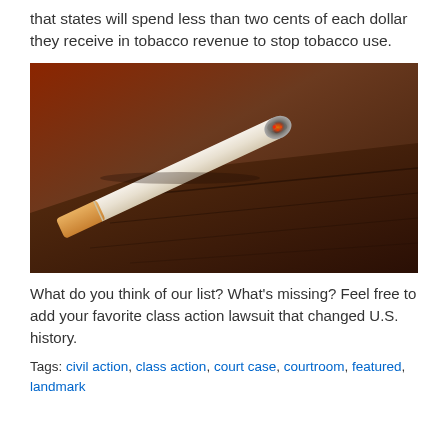that states will spend less than two cents of each dollar they receive in tobacco revenue to stop tobacco use.
[Figure (photo): Close-up photo of a lit cigarette resting on what appears to be a wooden surface or ashtray edge, with the glowing ash tip visible.]
What do you think of our list? What's missing? Feel free to add your favorite class action lawsuit that changed U.S. history.
Tags: civil action, class action, court case, courtroom, featured, landmark